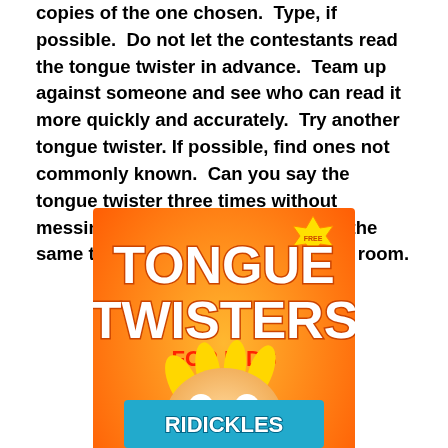copies of the one chosen.  Type, if possible.  Do not let the contestants read the tongue twister in advance.  Team up against someone and see who can read it more quickly and accurately.  Try another tongue twister. If possible, find ones not commonly known.  Can you say the tongue twister three times without messing up?  Have a group try it at the same time.  Listen to the buzz in the room.
[Figure (illustration): Book cover for 'Tongue Twisters for Kids' featuring a cartoon character with wild blonde hair and an extended tongue, on an orange background. Author: Raji Weber.]
[Figure (illustration): Partial view of another book cover with teal/blue background, text partially visible.]